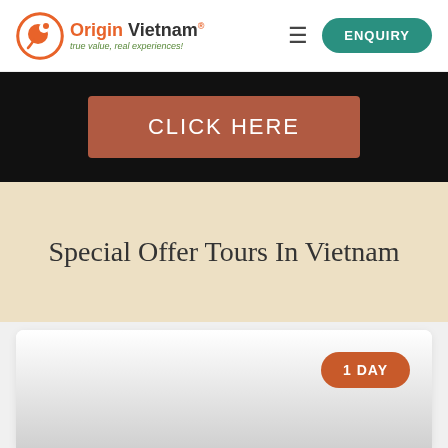[Figure (logo): Origin Vietnam logo with bird icon and tagline 'true value, real experiences!']
ENQUIRY
CLICK HERE
Special Offer Tours In Vietnam
1 DAY